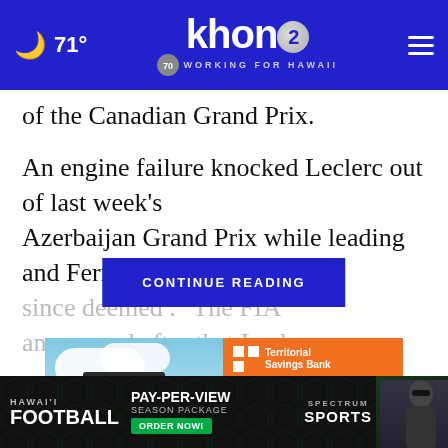71° khon2 WORKING FOR HAWAII
of the Canadian Grand Prix.
An engine failure knocked Leclerc out of last week's Azerbaijan Grand Prix while leading and Ferrari has since deemed [obscured]. The FIA announced after [obscured] that Leclerc [obscured]
CONTINUE READING
[Figure (advertisement): Territorial Savings Bank advertisement showing a bag against blue sky background with 'SPECIAL OFFER for Friends and...' text on orange panel]
[Figure (advertisement): Hawai'i Football Pay-Per-View Season Package advertisement for Spectrum Sports with Order Now button]